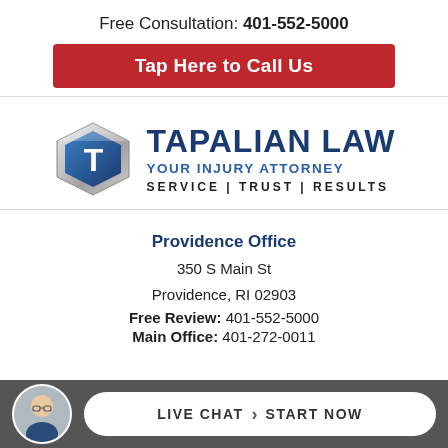Free Consultation: 401-552-5000
Tap Here to Call Us
[Figure (logo): Tapalian Law logo with diamond T icon, text TAPALIAN LAW, YOUR INJURY ATTORNEY, SERVICE | TRUST | RESULTS]
Providence Office
350 S Main St
Providence, RI 02903
Free Review: 401-552-5000
Main Office: 401-272-0011
LIVE CHAT > START NOW